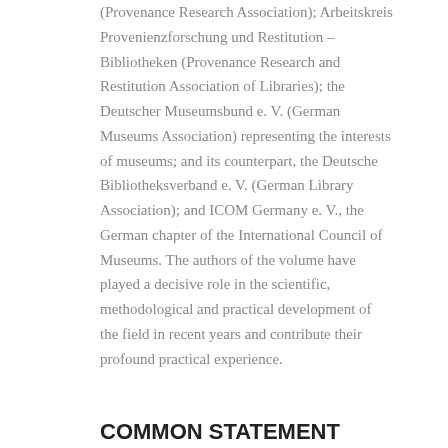(Provenance Research Association); Arbeitskreis Provenienzforschung und Restitution – Bibliotheken (Provenance Research and Restitution Association of Libraries); the Deutscher Museumsbund e. V. (German Museums Association) representing the interests of museums; and its counterpart, the Deutsche Bibliotheksverband e. V. (German Library Association); and ICOM Germany e. V., the German chapter of the International Council of Museums. The authors of the volume have played a decisive role in the scientific, methodological and practical development of the field in recent years and contribute their profound practical experience.
COMMON STATEMENT 1999
In accordance with the requirements of the Allied restitution provisions, the Federal Act on Restitution and the Federal Indemnification Act,